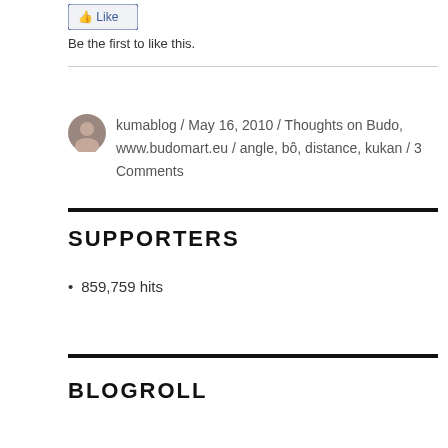[Figure (other): Like button UI element]
Be the first to like this.
kumablog / May 16, 2010 / Thoughts on Budo, www.budomart.eu / angle, bô, distance, kukan / 3 Comments
SUPPORTERS
859,759 hits
BLOGROLL